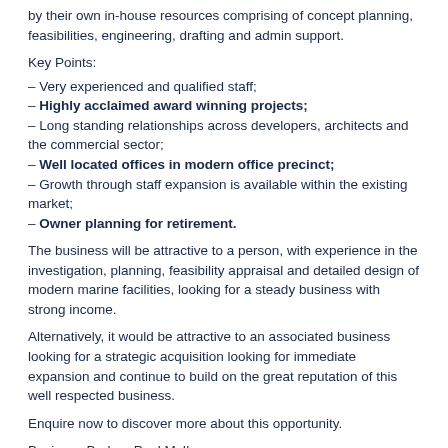by their own in-house resources comprising of concept planning, feasibilities, engineering, drafting and admin support.
Key Points:
– Very experienced and qualified staff;
– Highly acclaimed award winning projects;
– Long standing relationships across developers, architects and the commercial sector;
– Well located offices in modern office precinct;
– Growth through staff expansion is available within the existing market;
– Owner planning for retirement.
The business will be attractive to a person, with experience in the investigation, planning, feasibility appraisal and detailed design of modern marine facilities, looking for a steady business with strong income.
Alternatively, it would be attractive to an associated business looking for a strategic acquisition looking for immediate expansion and continue to build on the great reputation of this well respected business.
Enquire now to discover more about this opportunity.
Business Broker: Paul McIlroy
Ref: BR01156